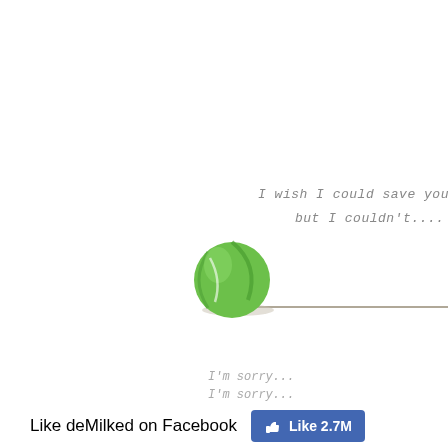[Figure (illustration): A green tennis ball sitting on a surface with a long shadow extending to the right. Above the ball, italic text reads 'I wish I could save you' and 'but I couldn't...' in gray handwritten-style font.]
I'm sorry...
I'm sorry...
Like deMilked on Facebook
[Figure (other): Facebook Like button showing thumbs up icon and 'Like 2.7M' in white text on blue background.]